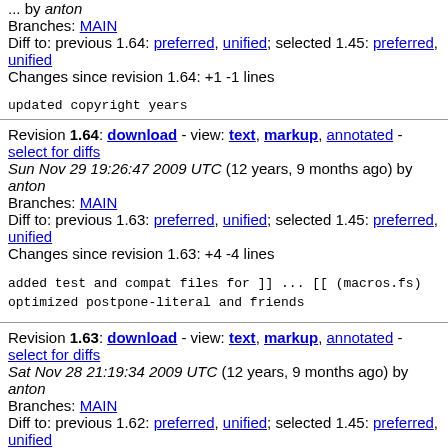Thu Dec 31 15:52:35 2009 UTC (12 years, 6 months ago) by anton
Branches: MAIN
Diff to: previous 1.64: preferred, unified; selected 1.45: preferred, unified
Changes since revision 1.64: +1 -1 lines
updated copyright years
Revision 1.64: download - view: text, markup, annotated - select for diffs
Sun Nov 29 19:26:47 2009 UTC (12 years, 9 months ago) by anton
Branches: MAIN
Diff to: previous 1.63: preferred, unified; selected 1.45: preferred, unified
Changes since revision 1.63: +4 -4 lines
added test and compat files for ]] ... [[ (macros.fs)
optimized postpone-literal and friends
Revision 1.63: download - view: text, markup, annotated - select for diffs
Sat Nov 28 21:19:34 2009 UTC (12 years, 9 months ago) by anton
Branches: MAIN
Diff to: previous 1.62: preferred, unified; selected 1.45: preferred, unified
Changes since revision 1.62: +25 -3 lines